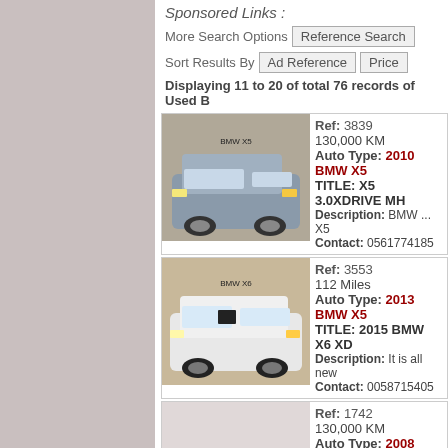Sponsored Links :
More Search Options | Reference Search
Sort Results By | Ad Reference | Price
Displaying 11 to 20 of total 76 records of Used B...
[Figure (photo): Silver BMW X5 SUV parked outdoors]
Ref: 3839
130,000 KM
Auto Type: 2010 BMW X5...
TITLE: X5 3.0XDRIVE MH...
Description: BMW ... X5...
Contact: 0561774185
[Figure (photo): White BMW X6 SUV parked on cobblestone]
Ref: 3553
112 Miles
Auto Type: 2013 BMW X5...
TITLE: 2015 BMW X6 XD...
Description: It is all new...
Contact: 0058715405
[Figure (photo): Third BMW listing, image loading]
Ref: 1742
130,000 KM
Auto Type: 2008 BMW X5...
TITLE: 2008 X6 5.0 TWIN...
Description: 2008 X6 5...